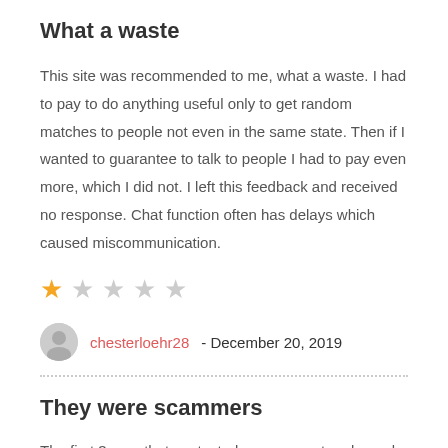What a waste
This site was recommended to me, what a waste. I had to pay to do anything useful only to get random matches to people not even in the same state. Then if I wanted to guarantee to talk to people I had to pay even more, which I did not. I left this feedback and received no response. Chat function often has delays which caused miscommunication.
[Figure (other): Star rating: 1 out of 5 stars (one filled orange star, four empty grey stars)]
chesterloehr28 - December 20, 2019
They were scammers
The first 3 men that contacted me were not real people.